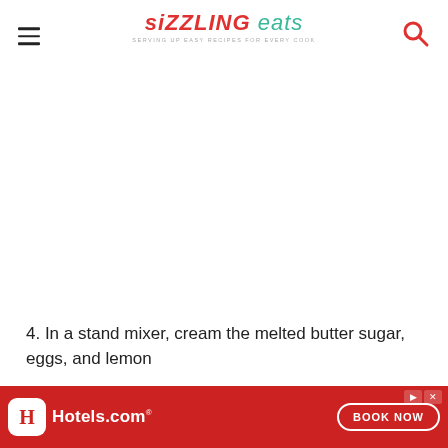SIZZLING eats — Serving up easy recipes for every cook
[Figure (other): White/blank image area below the header navigation]
4. In a stand mixer, cream the melted butter sugar, eggs, and lemon
5. Slowly add in the flour and milk, mix on m...
6. P... /4
[Figure (other): Hotels.com advertisement banner with red background, Hotels.com logo, and BOOK NOW button]